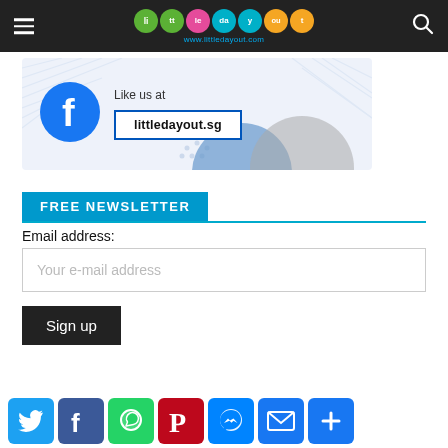little day out — www.littledayout.com
[Figure (infographic): Facebook like banner with Facebook icon and a box showing 'littledayout.sg']
FREE NEWSLETTER
Email address:
Your e-mail address
Sign up
[Figure (infographic): Social sharing icons row: Twitter, Facebook, WhatsApp, Pinterest, Messenger, Email, More]